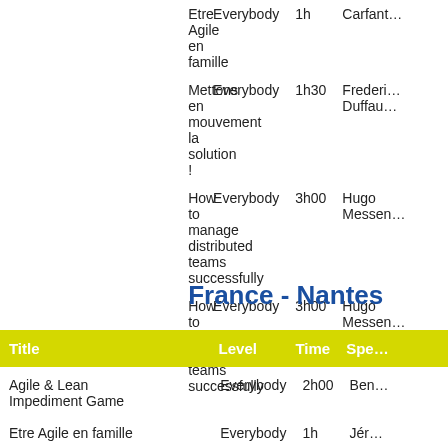| Title | Level | Time | Speaker |
| --- | --- | --- | --- |
| Etre Agile en famille | Everybody | 1h | Carfant… |
| Mettons en mouvement la solution ! | Everybody | 1h30 | Frederi… Duffau… |
| How to manage distributed teams successfully | Everybody | 3h00 | Hugo Messen… |
| How to manage distributed teams successfully | Everybody | 3h00 | Hugo Messen… |
France - Nantes
| Title | Level | Time | Spe… |
| --- | --- | --- | --- |
| Agile & Lean Impediment Game | Everybody | 2h00 | Ben… |
| Etre Agile en famille | Everybody | 1h | Jér… |